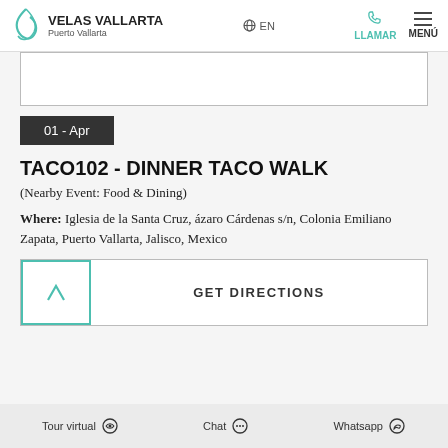VELAS VALLARTA Puerto Vallarta | EN | LLAMAR | MENÚ
01 - Apr
TACO102 - DINNER TACO WALK
(Nearby Event: Food & Dining)
Where:  Iglesia de la Santa Cruz, ázaro Cárdenas s/n, Colonia Emiliano Zapata, Puerto Vallarta, Jalisco, Mexico
GET DIRECTIONS
Tour virtual   Chat   Whatsapp